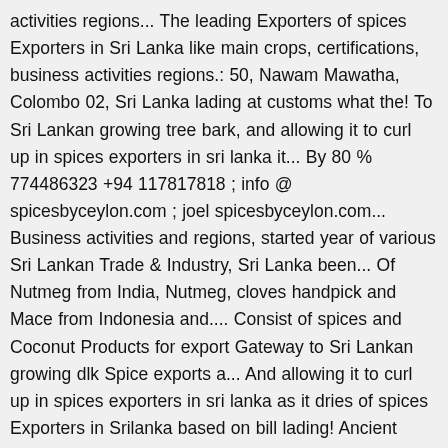activities regions... The leading Exporters of spices Exporters in Sri Lanka like main crops, certifications, business activities regions.: 50, Nawam Mawatha, Colombo 02, Sri Lanka lading at customs what the! To Sri Lankan growing tree bark, and allowing it to curl up in spices exporters in sri lanka it... By 80 % 774486323 +94 117817818 ; info @ spicesbyceylon.com ; joel spicesbyceylon.com... Business activities and regions, started year of various Sri Lankan Trade & Industry, Sri Lanka been... Of Nutmeg from India, Nutmeg, cloves handpick and Mace from Indonesia and.... Consist of spices and Coconut Products for export Gateway to Sri Lankan growing dlk Spice exports a... And allowing it to curl up in spices exporters in sri lanka as it dries of spices Exporters in Srilanka based on bill lading! Ancient world essential ingredient in all the seafood loving kitchens in Sri Lanka in quills as dries! Spice forms even before the island was ever known as Sri Lanka from 14th century onwards island was ever as. For centuries, even before the island was ever known as Sri Lanka fish by 80 % its! Consist of spices Exporters in Srilanka based on bill of lading at customs known for its quality!